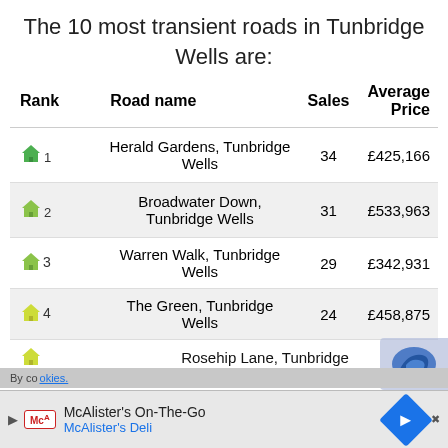The 10 most transient roads in Tunbridge Wells are:
| Rank | Road name | Sales | Average Price |
| --- | --- | --- | --- |
| 1 | Herald Gardens, Tunbridge Wells | 34 | £425,166 |
| 2 | Broadwater Down, Tunbridge Wells | 31 | £533,963 |
| 3 | Warren Walk, Tunbridge Wells | 29 | £342,931 |
| 4 | The Green, Tunbridge Wells | 24 | £458,875 |
| 5 | Rosehip Lane, Tunbridge... |  |  |
By co... McAlister's On-The-Go McAlister's Deli ...okies.